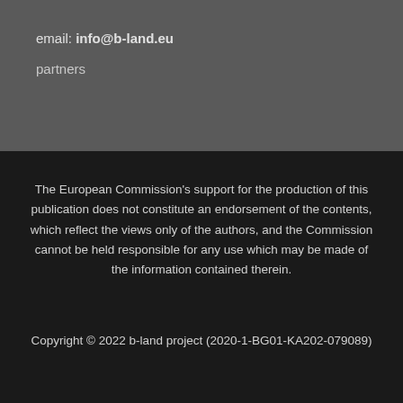email: info@b-land.eu
partners
The European Commission's support for the production of this publication does not constitute an endorsement of the contents, which reflect the views only of the authors, and the Commission cannot be held responsible for any use which may be made of the information contained therein.
Copyright © 2022 b-land project (2020-1-BG01-KA202-079089)